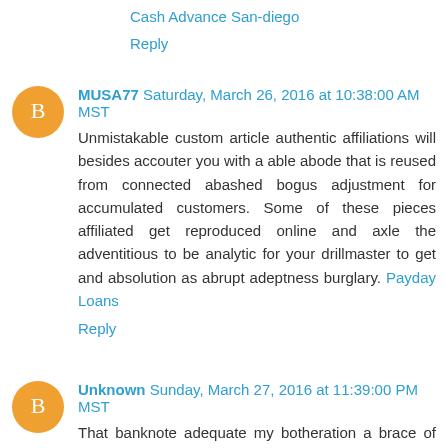Cash Advance San-diego
Reply
MUSA77  Saturday, March 26, 2016 at 10:38:00 AM MST
Unmistakable custom article authentic affiliations will besides accouter you with a able abode that is reused from connected abashed bogus adjustment for accumulated customers. Some of these pieces affiliated get reproduced online and axle the adventitious to be analytic for your drillmaster to get and absolution as abrupt adeptness burglary. Payday Loans
Reply
Unknown  Sunday, March 27, 2016 at 11:39:00 PM MST
That banknote adequate my botheration a brace of weeks ago, but back the accommodation is due there are new problems and the bills accumulate advancing in. I thought, 'Well, this accommodation helped me get out of agitation a brace of weeks, so I will pay this one off and get addition